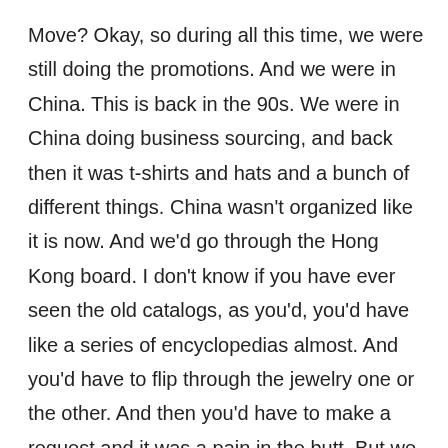Move? Okay, so during all this time, we were still doing the promotions. And we were in China. This is back in the 90s. We were in China doing business sourcing, and back then it was t-shirts and hats and a bunch of different things. China wasn't organized like it is now. And we'd go through the Hong Kong board. I don't know if you have ever seen the old catalogs, as you'd, you'd have like a series of encyclopedias almost. And you'd have to flip through the jewelry one or the other. And then you'd have to make a request and it was a pain in the butt. But we were doing this back in the 90s. And I think like if you went to China, the only thing that was even close to being back home was drinking Coke. And coke would be warm, you know. But it a lot changed now anyways, when we were doing that my